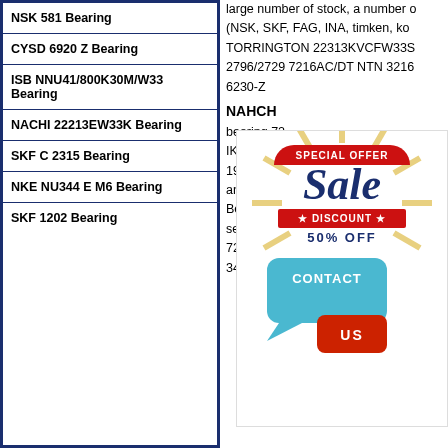NSK 581 Bearing
CYSD 6920 Z Bearing
ISB NNU41/800K30M/W33 Bearing
NACHI 22213EW33K Bearing
SKF C 2315 Bearing
NKE NU344 E M6 Bearing
SKF 1202 Bearing
large number of stock, a number of (NSK, SKF, FAG, INA, timken, ko TORRINGTON 22313KVCFW33S 2796/2729 7216AC/DT NTN 3216 6230-Z
NAHCH...
bearing 72 IKO NAH 197,Cheng and relative Bearing wi service to 7216AC/D 346216 ro 7216AC/DF modèles, tels que .If y stock of NACHI 7216AC/DF beari stocks for NACHI 7216AC/DF Bea we produce the bearings along wit 7216AC/DF Size and Details_www 7216C/DF Bearing 80 140 52 TBS
[Figure (infographic): Special Offer Sale Discount 50% OFF badge with sunburst design, and Contact Us speech bubble graphic]